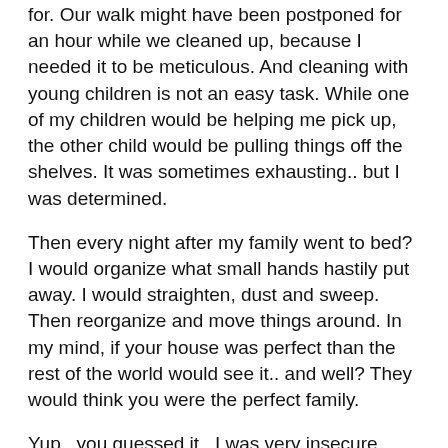for. Our walk might have been postponed for an hour while we cleaned up, because I needed it to be meticulous. And cleaning with young children is not an easy task. While one of my children would be helping me pick up, the other child would be pulling things off the shelves. It was sometimes exhausting.. but I was determined.
Then every night after my family went to bed? I would organize what small hands hastily put away. I would straighten, dust and sweep. Then reorganize and move things around. In my mind, if your house was perfect than the rest of the world would see it.. and well? They would think you were the perfect family.
Yup.. you guessed it.. I was very insecure. Why was I so insecure you ask? Well to be honest, being a parent to toddlers and infants is stressful. And I was stressed. I didn't show my stress to the rest of the world but it was there. I was a mother to a very strong willed daughter and a cranky